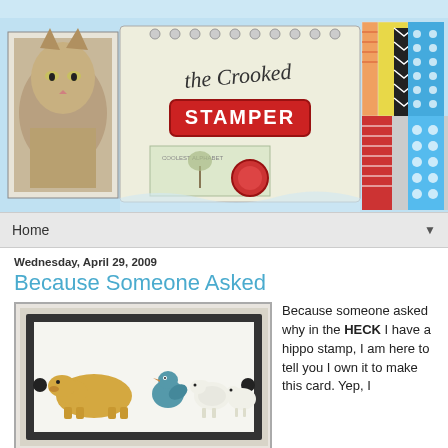[Figure (illustration): Blog header banner for 'The Crooked Stamper' showing a cat, scrapbooking materials, the blog logo with red stamp design, and colorful patterned papers on the right]
Home ▼
Wednesday, April 29, 2009
Because Someone Asked
[Figure (photo): Photo of craft stamps showing a hippo, bird, and sheep figures on a card]
Because someone asked why in the HECK I have a hippo stamp, I am here to tell you I own it to make this card. Yep, I